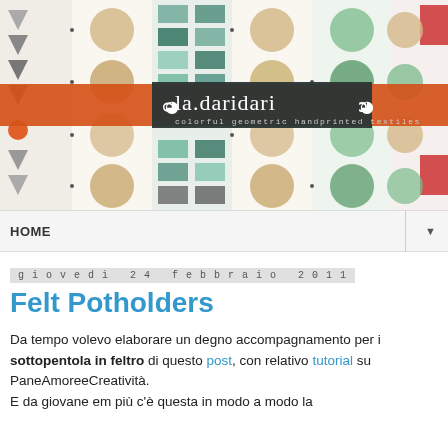[Figure (photo): Website header banner for 'la.daridari — colorful geometric handprinted textiles'. Shows a colorful textile pattern with circles, triangles, and rectangles in orange, green, teal, red, black, and white. The brand name and tagline are overlaid on a dark horizontal stripe through the center.]
HOME ▼
giovedì 24 febbraio 2011
Felt Potholders
Da tempo volevo elaborare un degno accompagnamento per i sottopentola in feltro di questo post, con relativo tutorial su PaneAmoreeCreatività.
E da giovane età più è costata in modo a modo la...